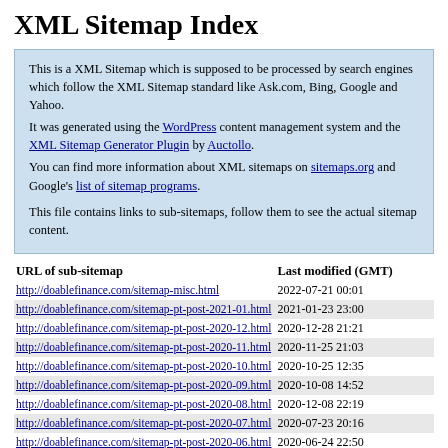XML Sitemap Index
This is a XML Sitemap which is supposed to be processed by search engines which follow the XML Sitemap standard like Ask.com, Bing, Google and Yahoo.
It was generated using the WordPress content management system and the XML Sitemap Generator Plugin by Auctollo.
You can find more information about XML sitemaps on sitemaps.org and Google's list of sitemap programs.

This file contains links to sub-sitemaps, follow them to see the actual sitemap content.
| URL of sub-sitemap | Last modified (GMT) |
| --- | --- |
| http://doablefinance.com/sitemap-misc.html | 2022-07-21 00:01 |
| http://doablefinance.com/sitemap-pt-post-2021-01.html | 2021-01-23 23:00 |
| http://doablefinance.com/sitemap-pt-post-2020-12.html | 2020-12-28 21:21 |
| http://doablefinance.com/sitemap-pt-post-2020-11.html | 2020-11-25 21:03 |
| http://doablefinance.com/sitemap-pt-post-2020-10.html | 2020-10-25 12:35 |
| http://doablefinance.com/sitemap-pt-post-2020-09.html | 2020-10-08 14:52 |
| http://doablefinance.com/sitemap-pt-post-2020-08.html | 2020-12-08 22:19 |
| http://doablefinance.com/sitemap-pt-post-2020-07.html | 2020-07-23 20:16 |
| http://doablefinance.com/sitemap-pt-post-2020-06.html | 2020-06-24 22:50 |
| http://doablefinance.com/sitemap-pt-post-2020-05.html | 2020-05-30 19:11 |